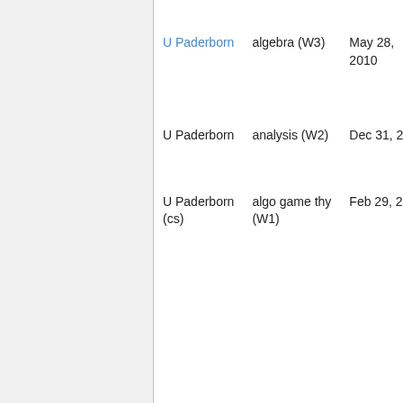| Institution | Subject | Date | Details (partial) |
| --- | --- | --- | --- |
| U Paderborn | algebra (W3) | May 28, 2010 | (partial, cut off) |
| U Paderborn | analysis (W2) | Dec 31, 2010 | (partial, cut off) |
| U Paderborn (cs) | algo game thy (W1) | Feb 29, 2012 | (partial, cut off) |